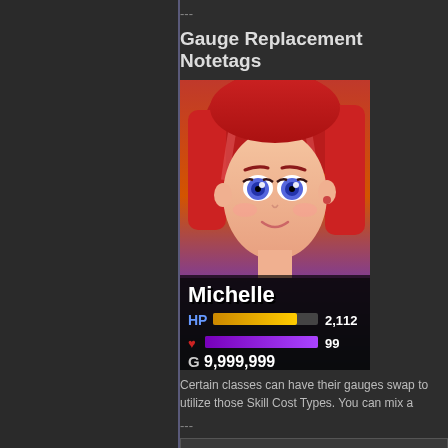---
Gauge Replacement Notetags
[Figure (screenshot): Game UI screenshot showing character Michelle with HP gauge showing 2,112, MP bar showing 99, and gold showing 9,999,999]
Certain classes can have their gauges swap to utilize those Skill Cost Types. You can mix a
---
<Replace HP Gauge: type>
<Replace MP Gauge: type>
<Replace TP Gauge: type>

- Used for: Class Notetags